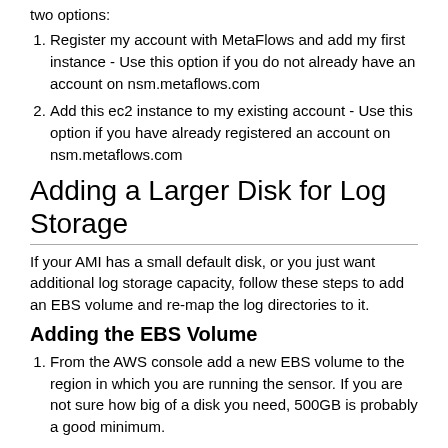two options:
Register my account with MetaFlows and add my first instance - Use this option if you do not already have an account on nsm.metaflows.com
Add this ec2 instance to my existing account - Use this option if you have already registered an account on nsm.metaflows.com
Adding a Larger Disk for Log Storage
If your AMI has a small default disk, or you just want additional log storage capacity, follow these steps to add an EBS volume and re-map the log directories to it.
Adding the EBS Volume
From the AWS console add a new EBS volume to the region in which you are running the sensor. If you are not sure how big of a disk you need, 500GB is probably a good minimum.
Attach the EBS volume to the MetaFlows sensor instance.
Verify the name of the drive on your MetaFlows sensor by checking dmesg .
[Figure (screenshot): Terminal screenshot showing commands: [root@ip-10-10-1-254 ~]# dmesg|tail -2, blkfront: xvdk: barriers disabled, xvdk: unknown partition table, [root@ip-10-10-1-254 ~]# ls /dev/xvdk]